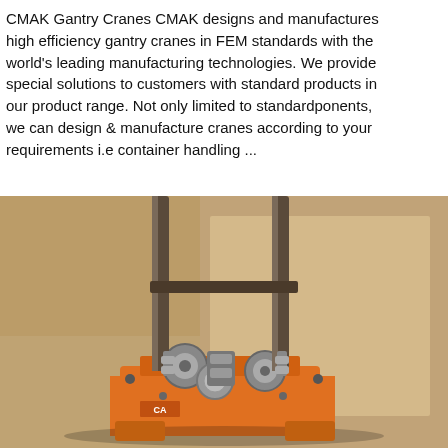CMAK Gantry Cranes CMAK designs and manufactures high efficiency gantry cranes in FEM standards with the world's leading manufacturing technologies. We provide special solutions to customers with standard products in our product range. Not only limited to standardponents, we can design & manufacture cranes according to your requirements i.e container handling ...
[Figure (other): Blue chat widget on right side with speech bubble icon and 'Free Chat' label]
[Figure (other): Orange 'Get Price' button]
[Figure (photo): Photo of an orange industrial crane hook/lifting mechanism with metal pulleys and chains, against a stone/concrete wall background]